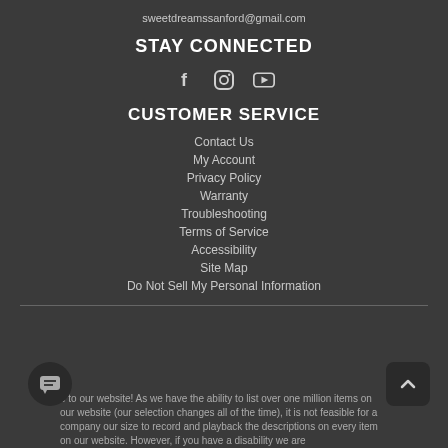sweetdreamssanford@gmail.com
STAY CONNECTED
[Figure (illustration): Social media icons: Facebook (f), Instagram (camera), YouTube (play button)]
CUSTOMER SERVICE
Contact Us
My Account
Privacy Policy
Warranty
Troubleshooting
Terms of Service
Accessibility
Site Map
Do Not Sell My Personal Information
Welcome to our website! As we have the ability to list over one million items on our website (our selection changes all of the time), it is not feasible for a company our size to record and playback the descriptions on every item on our website. However, if you have a disability we are